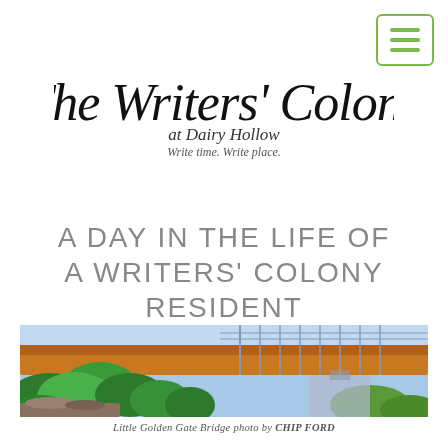[Figure (logo): The Writers' Colony at Dairy Hollow logo with tagline 'Write time. Write place.']
A DAY IN THE LIFE OF A WRITERS' COLONY RESIDENT
[Figure (photo): Photo of Little Golden Gate Bridge with green foliage and suspension bridge cables, blue sky. Photo by Chip Ford.]
Little Golden Gate Bridge photo by CHIP FORD